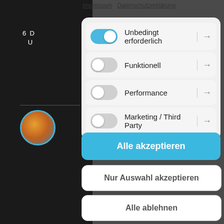[Figure (screenshot): Cookie consent dialog overlay on a website. Shows toggle options for Unbedingt erforderlich (on/blue), Funktionell (off), Performance (off), Marketing / Third Party (off), with buttons: Alle akzeptieren (blue), Nur Auswahl akzeptieren, Alle ablehnen. Top links: Impressum, Datenschutzerklärung.]
Impressum   Datenschutzerklärung
Unbedingt erforderlich →
Funktionell →
Performance →
Marketing / Third Party →
Alle akzeptieren
Nur Auswahl akzeptieren
Alle ablehnen